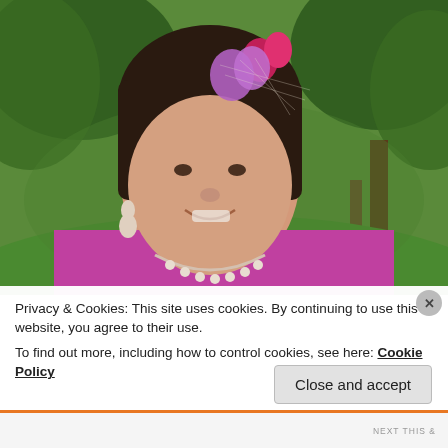[Figure (photo): Portrait photo of a smiling woman with dark hair, wearing a bright magenta/pink top and a decorative pearl necklace, with pink and purple flowers and birdcage veil hair accessory, photographed outdoors in a green wooded setting.]
Privacy & Cookies: This site uses cookies. By continuing to use this website, you agree to their use.
To find out more, including how to control cookies, see here: Cookie Policy
Close and accept